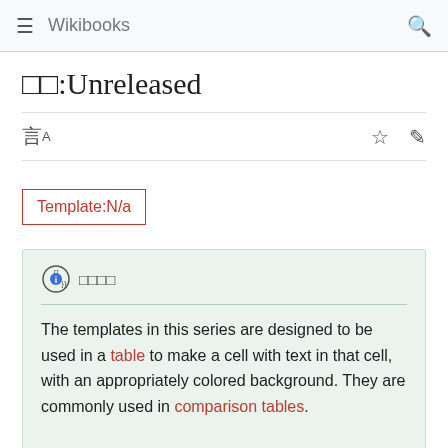Wikibooks
□□:Unreleased
Template:N/a
{{i}} □□□□
The templates in this series are designed to be used in a table to make a cell with text in that cell, with an appropriately colored background. They are commonly used in comparison tables.
For example, {{yes}} makes a cell with a green